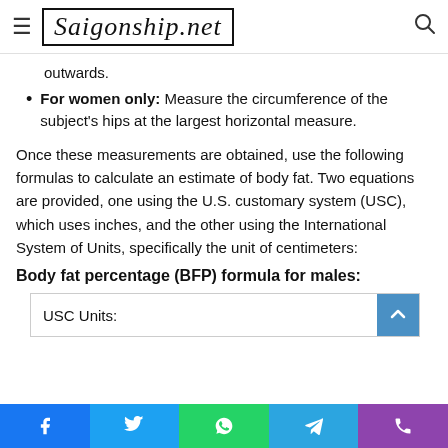Saigonship.net
outwards.
For women only: Measure the circumference of the subject's hips at the largest horizontal measure.
Once these measurements are obtained, use the following formulas to calculate an estimate of body fat. Two equations are provided, one using the U.S. customary system (USC), which uses inches, and the other using the International System of Units, specifically the unit of centimeters:
Body fat percentage (BFP) formula for males:
| USC Units: |
| --- |
Social share bar: Facebook, Twitter, WhatsApp, Telegram, Phone